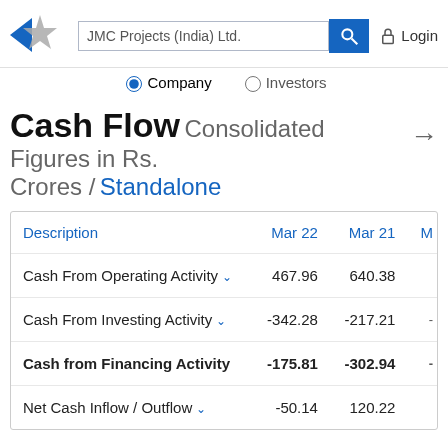JMC Projects (India) Ltd. | Company | Investors | Login
Cash Flow Consolidated Figures in Rs. Crores / Standalone
| Description | Mar 22 | Mar 21 | M… |
| --- | --- | --- | --- |
| Cash From Operating Activity | 467.96 | 640.38 | … |
| Cash From Investing Activity | -342.28 | -217.21 | -… |
| Cash from Financing Activity | -175.81 | -302.94 | -… |
| Net Cash Inflow / Outflow | -50.14 | 120.22 |  |